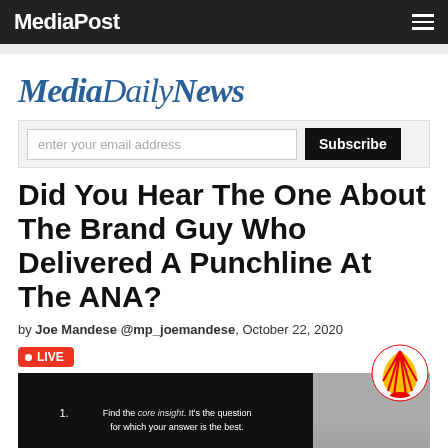MediaPost
[Figure (logo): MediaDailyNews logo in blue italic serif font]
[Figure (screenshot): Email subscription bar with input field and Subscribe button]
Did You Hear The One About The Brand Guy Who Delivered A Punchline At The ANA?
by Joe Mandese @mp_joemandese, October 22, 2020
[Figure (screenshot): LIVE badge in red, Shell logo, slide image with text 'Find the core insight. It's the question for which your answer is the best.' and person photo, with Twitter, Facebook, LinkedIn social share buttons]